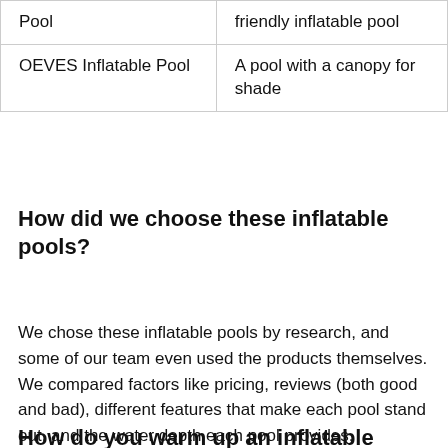| Pool | friendly inflatable pool |
| OEVES Inflatable Pool | A pool with a canopy for shade |
How did we choose these inflatable pools?
We chose these inflatable pools by research, and some of our team even used the products themselves. We compared factors like pricing, reviews (both good and bad), different features that make each pool stand out, and the water depth each pool provides.
How do you warm up an inflatable pool?